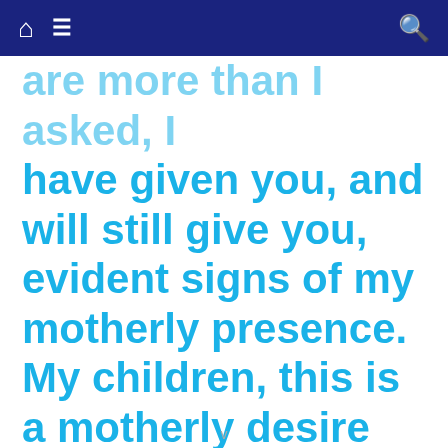[navigation bar with home, menu, and search icons]
are more than I asked, I have given you, and will still give you, evident signs of my motherly presence. My children, this is a motherly desire
v